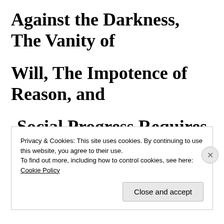Against the Darkness, The Vanity of Will, The Impotence of Reason, and Social Progress Requires Regression
Privacy & Cookies: This site uses cookies. By continuing to use this website, you agree to their use.
To find out more, including how to control cookies, see here: Cookie Policy